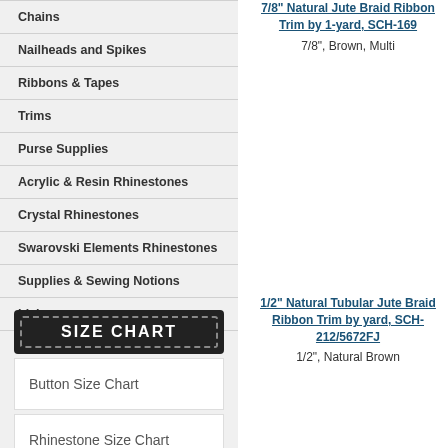Chains
Nailheads and Spikes
Ribbons & Tapes
Trims
Purse Supplies
Acrylic & Resin Rhinestones
Crystal Rhinestones
Swarovski Elements Rhinestones
Supplies & Sewing Notions
Living
[Figure (other): SIZE CHART banner with dashed border on dark background]
Button Size Chart
Rhinestone Size Chart
7/8" Natural Jute Braid Ribbon Trim by 1-yard, SCH-169
7/8", Brown, Multi
1/2" Natural Tubular Jute Braid Ribbon Trim by yard, SCH-212/5672FJ
1/2", Natural Brown
1-1... Tri... (truncated)